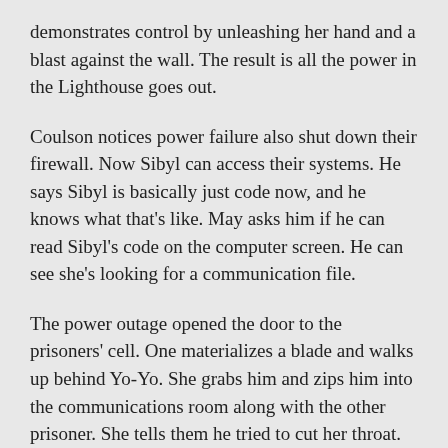demonstrates control by unleashing her hand and a blast against the wall. The result is all the power in the Lighthouse goes out.
Coulson notices power failure also shut down their firewall. Now Sibyl can access their systems. He says Sibyl is basically just code now, and he knows what that's like. May asks him if he can read Sibyl's code on the computer screen. He can see she's looking for a communication file.
The power outage opened the door to the prisoners' cell. One materializes a blade and walks up behind Yo-Yo. She grabs him and zips him into the communications room along with the other prisoner. She tells them he tried to cut her throat. The guy replies he was just following orders. Coulson tells Kora these are the lives Malick is saving, not heroes. These are hitmen who owe their lives